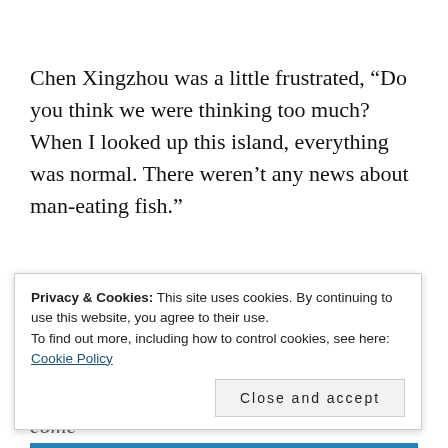Chen Xingzhou was a little frustrated, “Do you think we were thinking too much? When I looked up this island, everything was normal. There weren’t any news about man-eating fish.”
Please support the translator and read this from
kktranslates(.)home(.)blog
If there was such news, he wouldn’t have come
Privacy & Cookies: This site uses cookies. By continuing to use this website, you agree to their use.
To find out more, including how to control cookies, see here: Cookie Policy
Close and accept